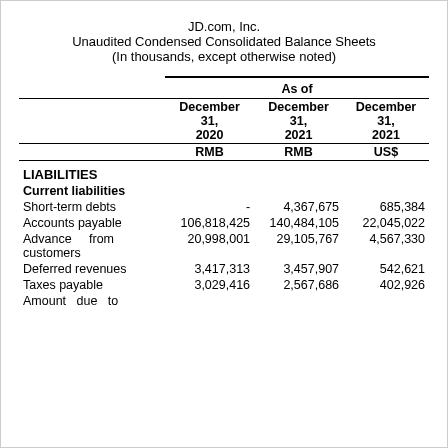JD.com, Inc.
Unaudited Condensed Consolidated Balance Sheets
(In thousands, except otherwise noted)
|  | December 31, 2020 RMB | December 31, 2021 RMB | December 31, 2021 US$ |
| --- | --- | --- | --- |
| LIABILITIES |  |  |  |
| Current liabilities |  |  |  |
| Short-term debts | - | 4,367,675 | 685,384 |
| Accounts payable | 106,818,425 | 140,484,105 | 22,045,022 |
| Advance from customers | 20,998,001 | 29,105,767 | 4,567,330 |
| Deferred revenues | 3,417,313 | 3,457,907 | 542,621 |
| Taxes payable | 3,029,416 | 2,567,686 | 402,926 |
| Amount due to |  |  |  |